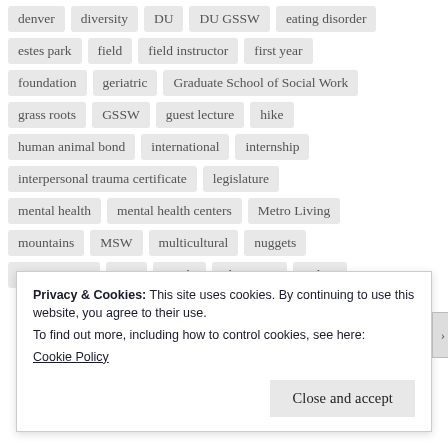denver
diversity
DU
DU GSSW
eating disorder
estes park
field
field instructor
first year
foundation
geriatric
Graduate School of Social Work
grass roots
GSSW
guest lecture
hike
human animal bond
international
internship
interpersonal trauma certificate
legislature
mental health
mental health centers
Metro Living
mountains
MSW
multicultural
nuggets
organizations
Osa
panda
placement
policy
Privacy & Cookies: This site uses cookies. By continuing to use this website, you agree to their use. To find out more, including how to control cookies, see here: Cookie Policy
Close and accept